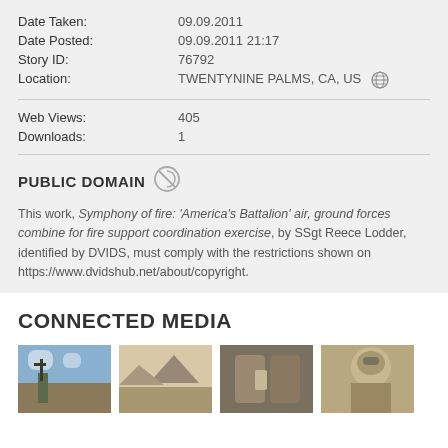Date Taken: 09.09.2011
Date Posted: 09.09.2011 21:17
Story ID: 76792
Location: TWENTYNINE PALMS, CA, US
Web Views: 405
Downloads: 1
PUBLIC DOMAIN
This work, Symphony of fire: 'America's Battalion' air, ground forces combine for fire support coordination exercise, by SSgt Reece Lodder, identified by DVIDS, must comply with the restrictions shown on https://www.dvidshub.net/about/copyright.
CONNECTED MEDIA
[Figure (photo): Military personnel with weapon against sky with clouds]
[Figure (photo): Desert landscape with mountains]
[Figure (photo): Close-up of military personnel hands]
[Figure (photo): Military soldier with helmet]